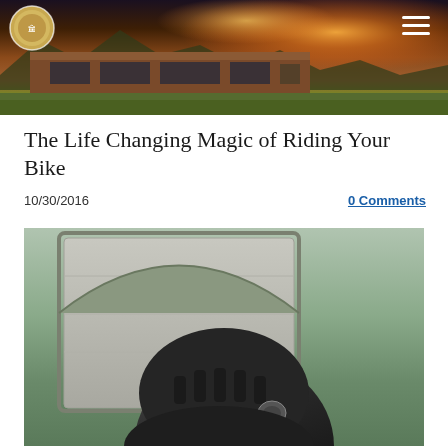[Figure (photo): Header banner photo of a building with mountains and sunset sky in the background, with a circular logo in the top left and hamburger menu icon in the top right]
The Life Changing Magic of Riding Your Bike
10/30/2016
0 Comments
[Figure (photo): Photo of a person wearing a dark bicycle helmet in front of a garage door]